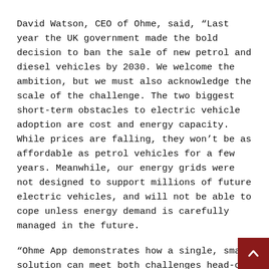David Watson, CEO of Ohme, said, “Last year the UK government made the bold decision to ban the sale of new petrol and diesel vehicles by 2030. We welcome the ambition, but we must also acknowledge the scale of the challenge. The two biggest short-term obstacles to electric vehicle adoption are cost and energy capacity. While prices are falling, they won’t be as affordable as petrol vehicles for a few years. Meanwhile, our energy grids were not designed to support millions of future electric vehicles, and will not be able to cope unless energy demand is carefully managed in the future.
“Ohme App demonstrates how a single, smart solution can meet both challenges head-on. By taking advantage of time-of-use tariffs, we can help drivers make significant savings on the cost of